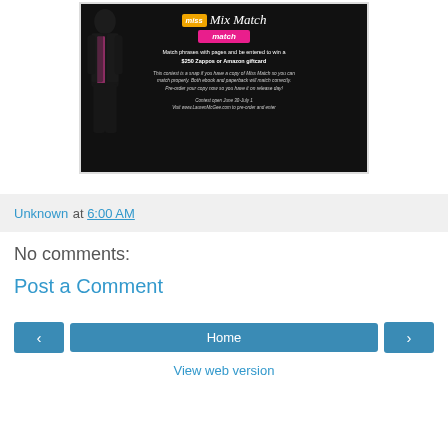[Figure (illustration): Promotional image for 'Miss Mix Match' contest on a dark background showing a man in a tuxedo with a pink bow tie. Text: 'Match phrases with pages and be entered to win a $250 Zappos or Amazon giftcard. This contest is a snap if you have a copy of Miss Match so you can match properly. Both ebook and paperback will match correctly. Pre-order your copy now so you have it on release day! Contest open June 30-July 1. Visit www.LaurenMcGee.com to pre-order and enter']
Unknown at 6:00 AM
No comments:
Post a Comment
Home
View web version